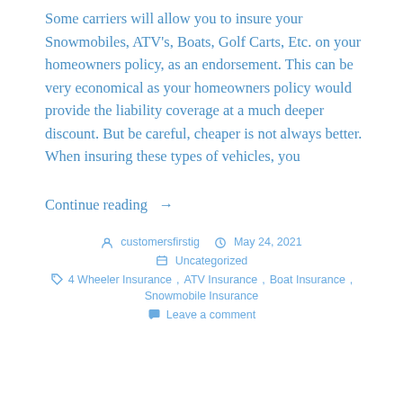Some carriers will allow you to insure your Snowmobiles, ATV's, Boats, Golf Carts, Etc. on your homeowners policy, as an endorsement. This can be very economical as your homeowners policy would provide the liability coverage at a much deeper discount. But be careful, cheaper is not always better. When insuring these types of vehicles, you
Continue reading →
customersfirstig  May 24, 2021  Uncategorized  4 Wheeler Insurance, ATV Insurance, Boat Insurance, Snowmobile Insurance  Leave a comment